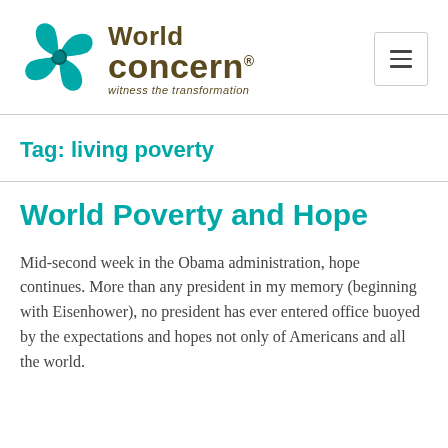[Figure (logo): World Concern logo with teal pinwheel/butterfly icon and brown text reading 'World concern.' with tagline 'witness the transformation']
Tag: living poverty
World Poverty and Hope
Mid-second week in the Obama administration, hope continues. More than any president in my memory (beginning with Eisenhower), no president has ever entered office buoyed by the expectations and hopes not only of Americans and all the world.